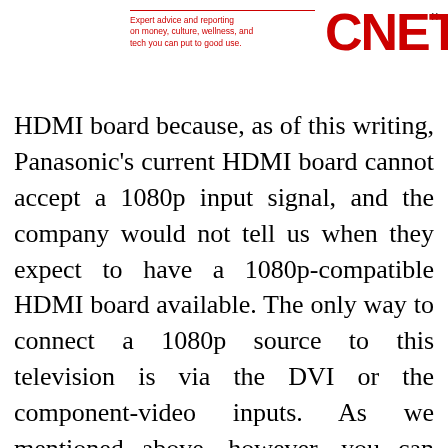[Figure (logo): CNET logo with red text and tagline 'Expert advice and reporting on money, culture, wellness, and tech you can put to good use.' with a red horizontal rule above the tagline.]
HDMI board because, as of this writing, Panasonic's current HDMI board cannot accept a 1080p input signal, and the company would not tell us when they expect to have a 1080p-compatible HDMI board available. The only way to connect a 1080p source to this television is via the DVI or the component-video inputs. As we mentioned above, however, you can easily connect an adapter to get 1080p HDMI sources into this set via DVI. The only disadvantage is that you won't get color or tint controls via DVI (no loss since they're both accurate anyway at default settings) and that DVI doesn't pass